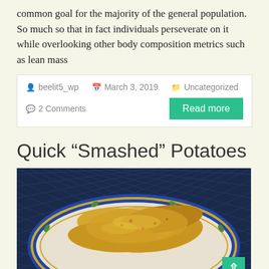common goal for the majority of the general population. So much so that in fact individuals perseverate on it while overlooking other body composition metrics such as lean mass
beelit5_wp   March 3, 2019   Uncategorized   2 Comments   Read more
Quick “Smashed” Potatoes
[Figure (photo): A photo of smashed potatoes on a decorative plate with a blue and gold border, showing golden-brown roasted potato pieces seasoned with spices.]